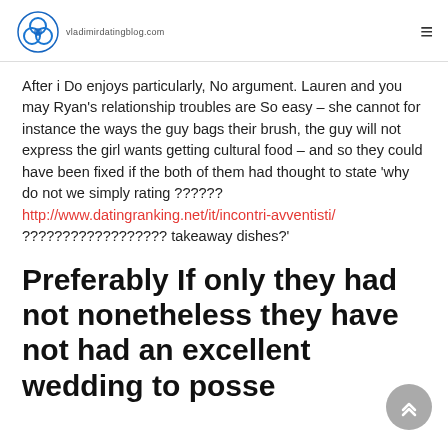vladimirdatingblog.com
After i Do enjoys particularly, No argument. Lauren and you may Ryan’s relationship troubles are So easy – she cannot for instance the ways the guy bags their brush, the guy will not express the girl wants getting cultural food – and so they could have been fixed if the both of them had thought to state ‘why do not we simply rating ?????? http://www.datingranking.net/it/incontri-avventisti/ ?????????????????? takeaway dishes?’
Preferably If only they had not nonetheless they have not had an excellent wedding to posse